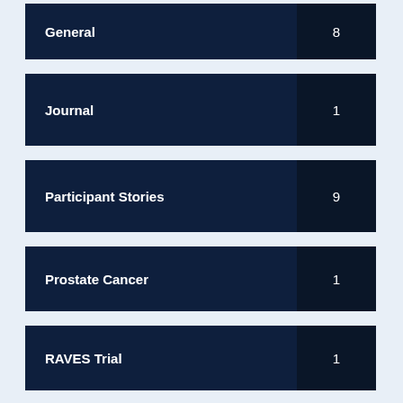General 8
Journal 1
Participant Stories 9
Prostate Cancer 1
RAVES Trial 1
Trials 6